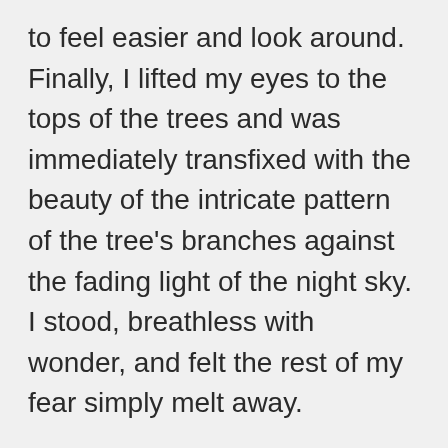to feel easier and look around. Finally, I lifted my eyes to the tops of the trees and was immediately transfixed with the beauty of the intricate pattern of the tree's branches against the fading light of the night sky. I stood, breathless with wonder, and felt the rest of my fear simply melt away.

From that moment, I began to see the night, and the world at night, with new eyes; I saw it for the first time. Perhaps it was the newness, but everything looked different at night; it took on an almost magical quality — a feeling I still have